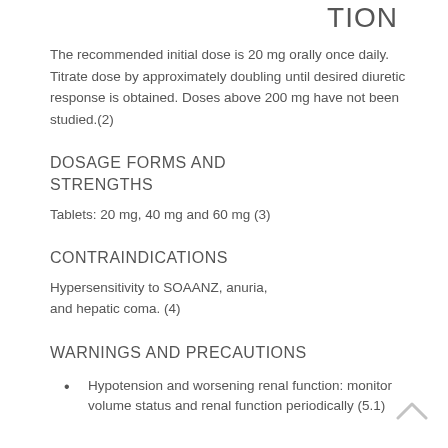TION
The recommended initial dose is 20 mg orally once daily. Titrate dose by approximately doubling until desired diuretic response is obtained. Doses above 200 mg have not been studied.(2)
DOSAGE FORMS AND STRENGTHS
Tablets: 20 mg, 40 mg and 60 mg  (3)
CONTRAINDICATIONS
Hypersensitivity to SOAANZ, anuria, and hepatic coma. (4)
WARNINGS AND PRECAUTIONS
Hypotension and worsening renal function: monitor volume status and renal function periodically (5.1)